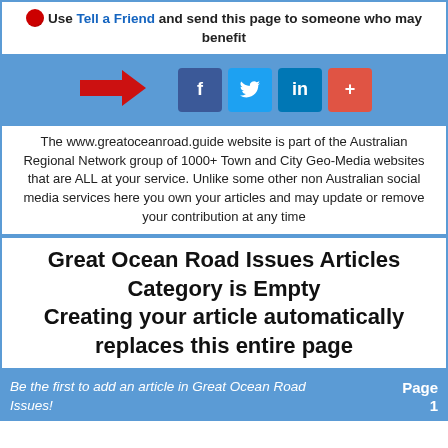Use Tell a Friend and send this page to someone who may benefit
[Figure (infographic): Social share bar with red arrow pointing right and social media buttons: Facebook (f), Twitter (bird), LinkedIn (in), and a plus (+) button on a blue background]
The www.greatoceanroad.guide website is part of the Australian Regional Network group of 1000+ Town and City Geo-Media websites that are ALL at your service. Unlike some other non Australian social media services here you own your articles and may update or remove your contribution at any time
Great Ocean Road Issues Articles Category is Empty Creating your article automatically replaces this entire page
Be the first to add an article in Great Ocean Road Issues! Page 1